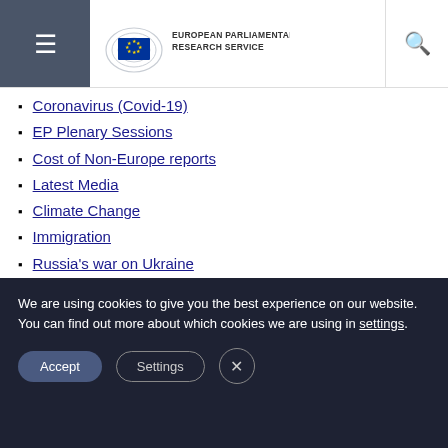European Parliamentary Research Service
Coronavirus (Covid-19)
EP Plenary Sessions
Cost of Non-Europe reports
Latest Media
Climate Change
Immigration
Russia's war on Ukraine
WE WRITE ABOUT
BLOG
EP Answers
We are using cookies to give you the best experience on our website.
You can find out more about which cookies we are using in settings.